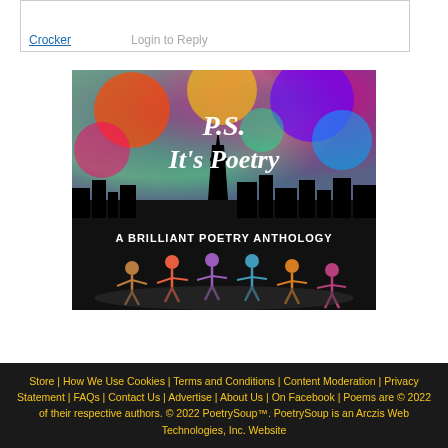Crocker | Login to Reply
[Figure (illustration): Book cover for 'P.S. It's Poetry — A Brilliant Poetry Anthology' featuring colorful splattered paint background with city skyline silhouette and Eiffel Tower, and illustrated figures holding hands in a circle at the bottom.]
Store | How We Use Cookies | Terms and Conditions | Content Moderation | Privacy Statement | FAQs | Contact Us | Advertise | About Us | On Facebook | Poems are © 2022 of their respective authors. © 2022 PoetrySoup™. PoetrySoup is an Arczis Web Technologies, Inc. Website